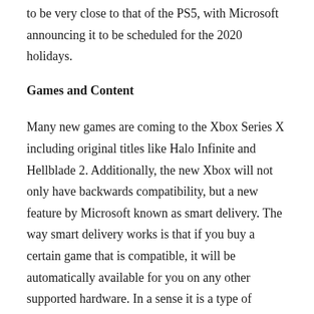to be very close to that of the PS5, with Microsoft announcing it to be scheduled for the 2020 holidays.
Games and Content
Many new games are coming to the Xbox Series X including original titles like Halo Infinite and Hellblade 2. Additionally, the new Xbox will not only have backwards compatibility, but a new feature by Microsoft known as smart delivery. The way smart delivery works is that if you buy a certain game that is compatible, it will be automatically available for you on any other supported hardware. In a sense it is a type of forward compatibility, i.e. buy a compatible game on Xbox One X and have it available to you on your Series X.